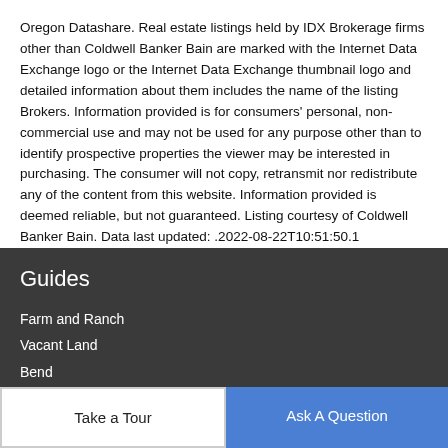Oregon Datashare. Real estate listings held by IDX Brokerage firms other than Coldwell Banker Bain are marked with the Internet Data Exchange logo or the Internet Data Exchange thumbnail logo and detailed information about them includes the name of the listing Brokers. Information provided is for consumers' personal, non-commercial use and may not be used for any purpose other than to identify prospective properties the viewer may be interested in purchasing. The consumer will not copy, retransmit nor redistribute any of the content from this website. Information provided is deemed reliable, but not guaranteed. Listing courtesy of Coldwell Banker Bain. Data last updated: .2022-08-22T10:51:50.1
Guides
Farm and Ranch
Vacant Land
Bend
Take a Tour
Ask A Question